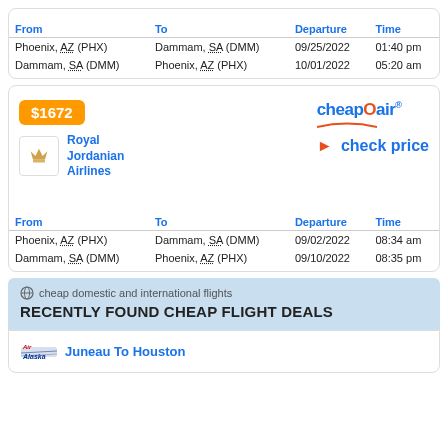| From | To | Departure | Time |
| --- | --- | --- | --- |
| Phoenix, AZ (PHX) | Dammam, SA (DMM) | 09/25/2022 | 01:40 pm |
| Dammam, SA (DMM) | Phoenix, AZ (PHX) | 10/01/2022 | 05:20 am |
$1672
[Figure (logo): CheapOair logo]
[Figure (logo): Royal Jordanian Airlines crown logo]
Royal Jordanian Airlines
check price
| From | To | Departure | Time |
| --- | --- | --- | --- |
| Phoenix, AZ (PHX) | Dammam, SA (DMM) | 09/02/2022 | 08:34 am |
| Dammam, SA (DMM) | Phoenix, AZ (PHX) | 09/10/2022 | 08:35 pm |
cheap domestic and international flights
RECENTLY FOUND CHEAP FLIGHT DEALS
Juneau To Houston